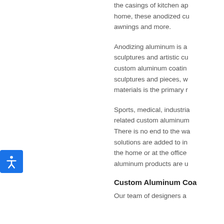the casings of kitchen ap home, these anodized cu awnings and more.
Anodizing aluminum is a sculptures and artistic cu custom aluminum coatin sculptures and pieces, w materials is the primary r
[Figure (other): Blue accessibility icon button with a person figure in white]
Sports, medical, industria related custom aluminum There is no end to the wa solutions are added to in the home or at the office aluminum products are u
Custom Aluminum Coa
Our team of designers a